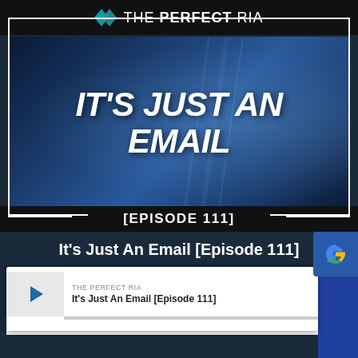[Figure (screenshot): The Perfect RIA podcast thumbnail featuring white bold italic text 'IT'S JUST AN EMAIL' on a blue gradient background, with [EPISODE 111] banner at the bottom, within a white-bordered frame on a black background]
It's Just An Email [Episode 111]
[Figure (screenshot): Audio player widget showing THE PERFECT RIA podcast, episode 'It's Just An Email [Episode 111]', with play button, progress bar, time 00:00:00, and control icons for subscribe, download, embed, and listen]